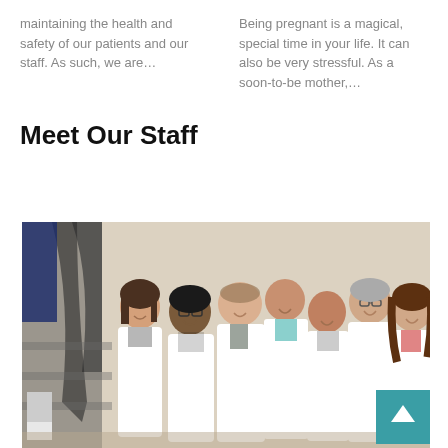maintaining the health and safety of our patients and our staff. As such, we are…
Being pregnant is a magical, special time in your life. It can also be very stressful. As a soon-to-be mother,…
Meet Our Staff
[Figure (photo): Group photo of seven medical staff members in white lab coats standing on a staircase in an elegant interior setting. A teal scroll-to-top button overlays the bottom-right corner.]